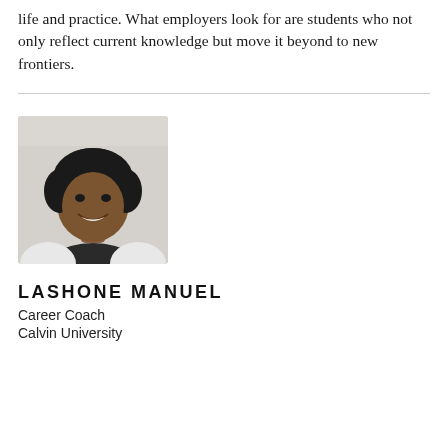life and practice. What employers look for are students who not only reflect current knowledge but move it beyond to new frontiers.
[Figure (photo): Portrait photo of Lashone Manuel, a woman with curly black hair, smiling, wearing a white cardigan over a dark top, photographed against a light background.]
LASHONE MANUEL
Career Coach
Calvin University